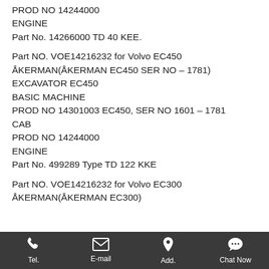PROD NO 14244000
ENGINE
Part No. 14266000 TD 40 KEE.
Part NO. VOE14216232 for Volvo EC450
ÅKERMAN(ÅKERMAN EC450 SER NO – 1781)
EXCAVATOR EC450
BASIC MACHINE
PROD NO 14301003 EC450, SER NO 1601 – 1781
CAB
PROD NO 14244000
ENGINE
Part No. 499289 Type TD 122 KKE
Part NO. VOE14216232 for Volvo EC300
ÅKERMAN(ÅKERMAN EC300)
Tel.  E-mail  Add.  Chat Now